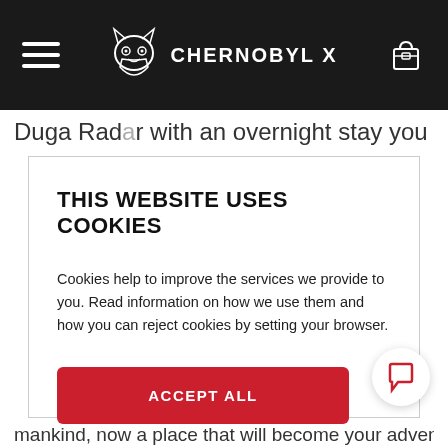CHERNOBYL X
Duga Radar with an overnight stay you will never
THIS WEBSITE USES COOKIES
Cookies help to improve the services we provide to you. Read information on how we use them and how you can reject cookies by setting your browser.
ACCEPT ALL
Manage Cookies
mankind, now a place that will become your adventure